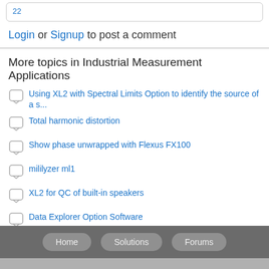22
Login or Signup to post a comment
More topics in Industrial Measurement Applications
Using XL2 with Spectral Limits Option to identify the source of a s...
Total harmonic distortion
Show phase unwrapped with Flexus FX100
mililyzer ml1
XL2 for QC of built-in speakers
Data Explorer Option Software
Neutrik A2 - Not Working Properly - Test Points for Repair
Home   Solutions   Forums